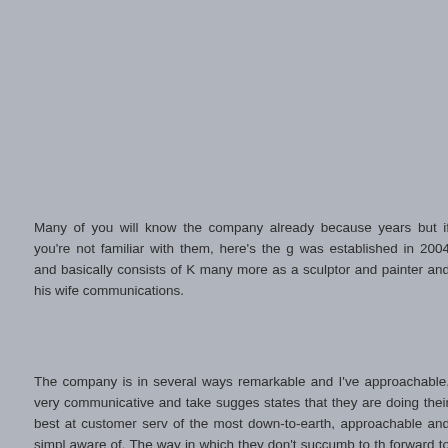Many of you will know the company already because years but if you're not familiar with them, here's the g was established in 2004 and basically consists of K many more as a sculptor and painter and his wife communications.
The company is in several ways remarkable and I've approachable, very communicative and take sugges states that they are doing their best at customer serv of the most down-to-earth, approachable and simpl aware of. The way in which they don't succumb to th forward to a future brighter than ever and for now a INCREDIBLE new releases" is inspiring to me and operate like this.
Due to the fact that communication and customer c all this had to be mentioned.